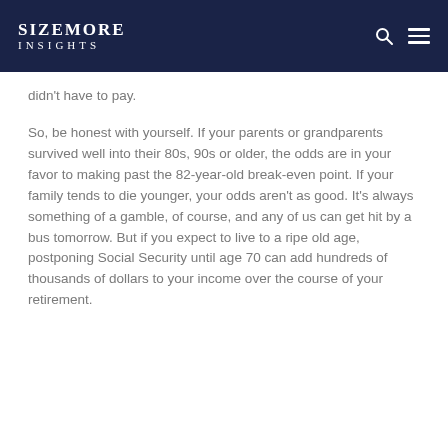SIZEMORE INSIGHTS
didn't have to pay.
So, be honest with yourself. If your parents or grandparents survived well into their 80s, 90s or older, the odds are in your favor to making past the 82-year-old break-even point. If your family tends to die younger, your odds aren't as good. It's always something of a gamble, of course, and any of us can get hit by a bus tomorrow. But if you expect to live to a ripe old age, postponing Social Security until age 70 can add hundreds of thousands of dollars to your income over the course of your retirement.